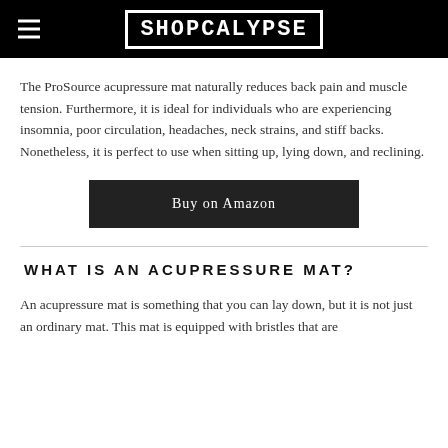SHOPCALYPSE
The ProSource acupressure mat naturally reduces back pain and muscle tension. Furthermore, it is ideal for individuals who are experiencing insomnia, poor circulation, headaches, neck strains, and stiff backs. Nonetheless, it is perfect to use when sitting up, lying down, and reclining.
Buy on Amazon
WHAT IS AN ACUPRESSURE MAT?
An acupressure mat is something that you can lay down, but it is not just an ordinary mat. This mat is equipped with bristles that are